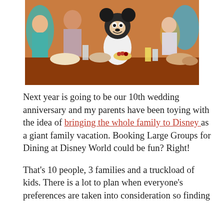[Figure (photo): A family dining at a Disney restaurant with Mickey Mouse character interacting with a young girl across the table. Food and drinks are spread across the table.]
Next year is going to be our 10th wedding anniversary and my parents have been toying with the idea of bringing the whole family to Disney as a giant family vacation. Booking Large Groups for Dining at Disney World could be fun? Right!
That's 10 people, 3 families and a truckload of kids. There is a lot to plan when everyone's preferences are taken into consideration so finding